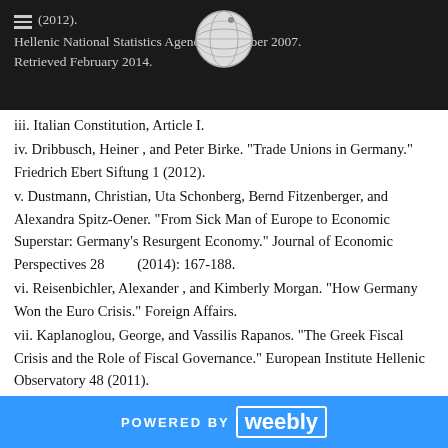(2012). Hellenic National Statistics Agency. December 2007. Retrieved February 2014.
iii. Italian Constitution, Article I.
iv. Dribbusch, Heiner , and Peter Birke. "Trade Unions in Germany." Friedrich Ebert Siftung 1 (2012).
v. Dustmann, Christian, Uta Schonberg, Bernd Fitzenberger, and Alexandra Spitz-Oener. "From Sick Man of Europe to Economic Superstar: Germany's Resurgent Economy." Journal of Economic Perspectives 28        (2014): 167-188.
vi. Reisenbichler, Alexander , and Kimberly Morgan. "How Germany Won the Euro Crisis." Foreign Affairs.
vii. Kaplanoglou, George, and Vassilis Rapanos. "The Greek Fiscal Crisis and the Role of Fiscal Governance." European Institute Hellenic Observatory 48 (2011).
viii. "A National Sport No More: Greek Taxation." The
POWERED BY weebly